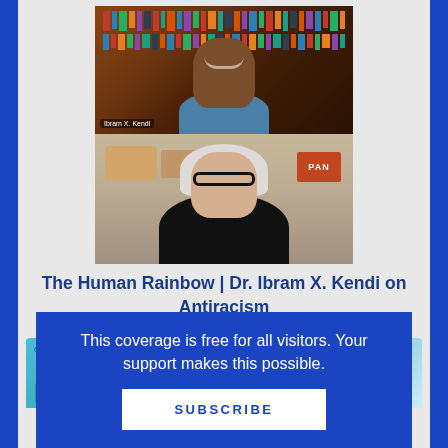[Figure (photo): Two video call screenshots stacked: top shows a smiling Black man (Ibram X. Kendi) in front of a bookshelf with name label; bottom shows a white woman with long grey hair and black glasses in a home setting with shelves and a PAN sign.]
The Human Rainbow | Dr. Ibram X. Kendi on Antiracism
[Figure (photo): Partial view of two book covers: left shows a teal/blue book with large text 'DOCS' and small italic text above; right shows a light blue book titled 'We Are SHAPES']
This coverage is free for all visitors. Your support makes this possible.
SUBSCRIBE